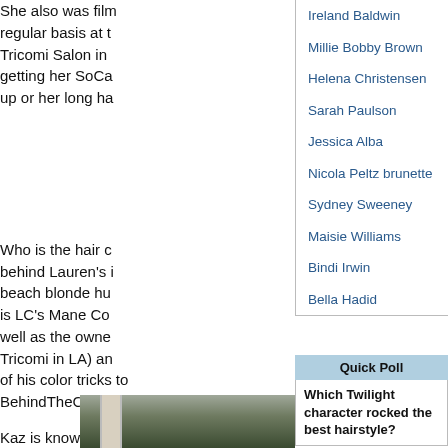She also was film regular basis at t Tricomi Salon in getting her SoCa up or her long ha
Ireland Baldwin
Millie Bobby Brown
Helena Christensen
Sarah Paulson
Jessica Alba
Nicola Peltz brunette
Sydney Sweeney
Maisie Williams
Bindi Irwin
Bella Hadid
Who is the hair c behind Lauren's i beach blonde hu is LC's Mane Co well as the owne Tricomi in LA) an of his color tricks to BehindTheChair.com.
Kaz is known for soft, natural lifestyle colors.
Quick Poll
Which Twilight character rocked the best hairstyle?
[Figure (photo): Indoor photo showing a column or architectural element with plants/greenery in the background]